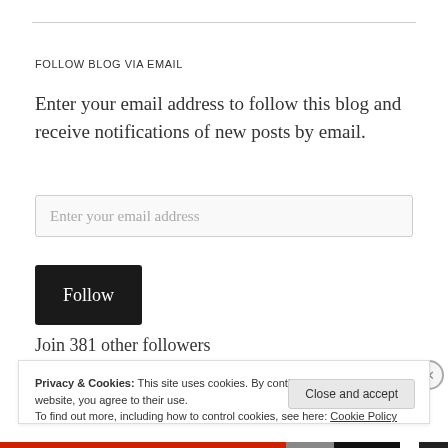FOLLOW BLOG VIA EMAIL
Enter your email address to follow this blog and receive notifications of new posts by email.
Enter your email address
Follow
Join 381 other followers
Privacy & Cookies: This site uses cookies. By continuing to use this website, you agree to their use.
To find out more, including how to control cookies, see here: Cookie Policy
Close and accept